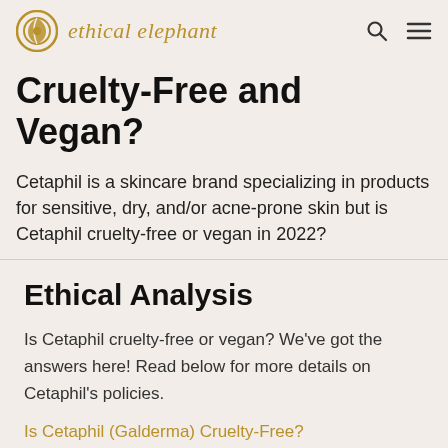ethical elephant
Cruelty-Free and Vegan?
Cetaphil is a skincare brand specializing in products for sensitive, dry, and/or acne-prone skin but is Cetaphil cruelty-free or vegan in 2022?
Ethical Analysis
Is Cetaphil cruelty-free or vegan? We've got the answers here! Read below for more details on Cetaphil's policies.
Is Cetaphil (Galderma) Cruelty-Free?